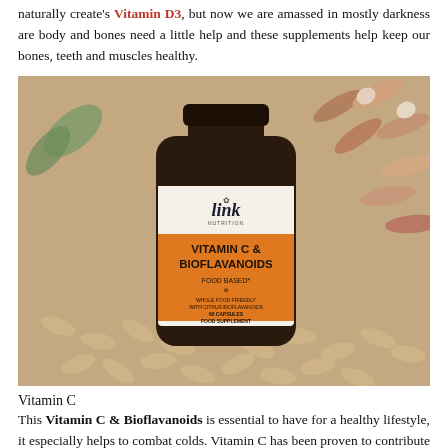naturally create's Vitamin D3, but now we are amassed in mostly darkness are body and bones need a little help and these supplements help keep our bones, teeth and muscles healthy.
[Figure (photo): A dark amber supplement bottle labeled 'link VITAMIN C & BIOFLAVANOIDS FOOD BASED FOOD SUPPLEMENT' lying on a woven basket surface surrounded by capsule pills.]
Vitamin C
This Vitamin C & Bioflavanoids is essential to have for a healthy lifestyle, it especially helps to combat colds. Vitamin C has been proven to contribute to the normal functioning of the immune system and taken